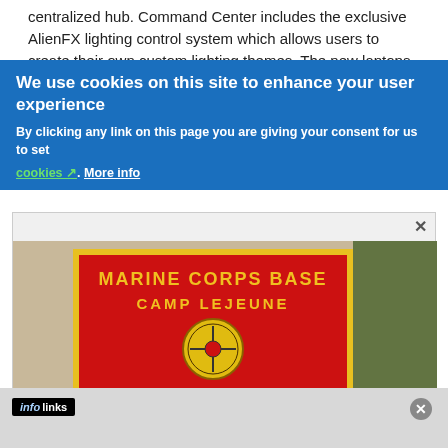centralized hub. Command Center includes the exclusive AlienFX lighting control system which allows users to create their own custom lighting themes. The new laptops have up to 20 colors to choose from across 10 different lighting zones
We use cookies on this site to enhance your user experience
By clicking any link on this page you are giving your consent for us to set cookies. More info
[Figure (photo): A red sign for Marine Corps Base Camp Lejeune with various military unit insignia/patches displayed on it. Text includes 'MARINE CORPS BASE CAMP LEJEUNE', 'MARINE CORPS BASE', 'COL N.P. FLATAO JR', 'SGTMAJ W.C. RICE']
infolinks